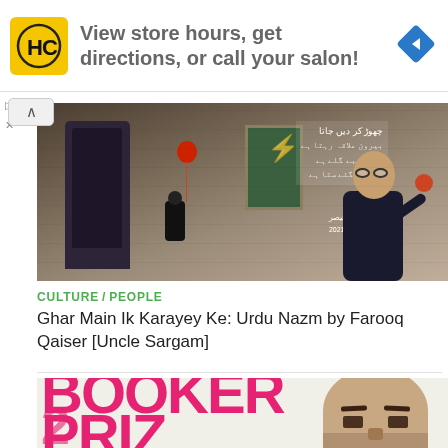[Figure (infographic): Advertisement banner: HC logo (yellow background with HC letters), text 'View store hours, get directions, or call your salon!', blue diamond navigation arrow icon]
[Figure (illustration): Illustration for article about Farooq Qaiser (Uncle Sargam): a painted scene showing a door, a child holding a red balloon, Urdu text on wall, and a caricature of a man in a suit holding something, with text 'فاروق قیصر 2021-1945']
CULTURE / PEOPLE
Ghar Main Ik Karayey Ke: Urdu Nazm by Farooq Qaiser [Uncle Sargam]
[Figure (photo): Booker Prize promotional image showing large pink/magenta 'BOOKER PRIZE' text and a close-up of a bald man's face]